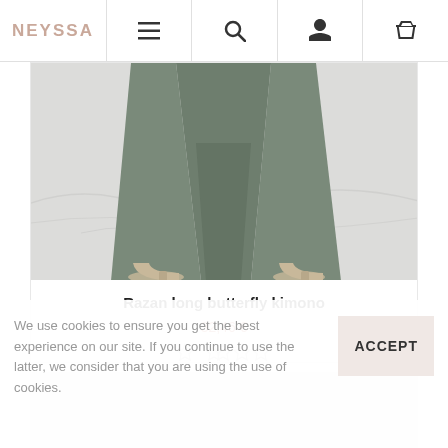NEYSSA — navigation bar with menu, search, account, cart icons
[Figure (photo): Product photo showing lower half of model wearing wide-leg olive/grey trousers with beige heels on marble floor, for Razan long butterfly kimono]
Razan long butterfly kimono
32,46 €
[Figure (other): Five empty star rating icons]
[Figure (photo): Second product card with NEW badge, showing partial photo of model in beige/cream outfit]
We use cookies to ensure you get the best experience on our site. If you continue to use the latter, we consider that you are using the use of cookies.
ACCEPT